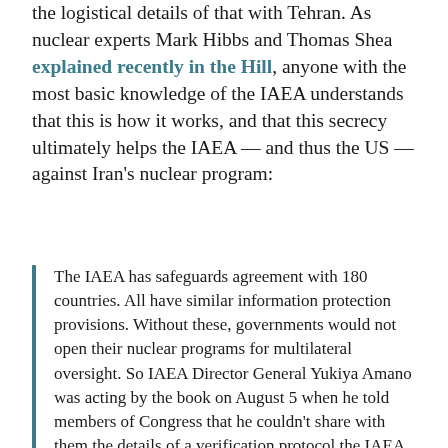the logistical details of that with Tehran. As nuclear experts Mark Hibbs and Thomas Shea explained recently in the Hill, anyone with the most basic knowledge of the IAEA understands that this is how it works, and that this secrecy ultimately helps the IAEA — and thus the US — against Iran's nuclear program:
The IAEA has safeguards agreement with 180 countries. All have similar information protection provisions. Without these, governments would not open their nuclear programs for multilateral oversight. So IAEA Director General Yukiya Amano was acting by the book on August 5 when he told members of Congress that he couldn't share with them the details of a verification protocol the IAEA had negotiated with Iran as part of a bilateral "roadmap" to address unresolved allegations about Iran's nuclear behavior.